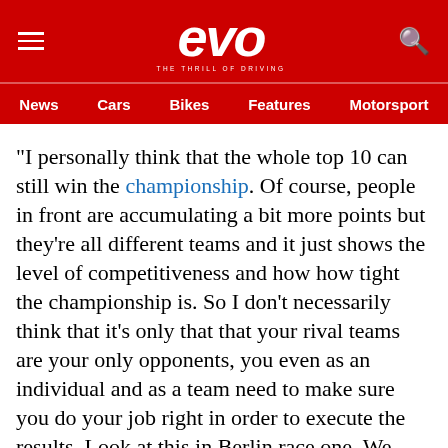evo — THE THRILL OF DRIVING
News | Cars | Bikes | Features | Motorsport
"I personally think that the whole top 10 can still win the championship. Of course, people in front are accumulating a bit more points but they're all different teams and it just shows the level of competitiveness and how how tight the championship is. So I don't necessarily think that it's only that that your rival teams are your only opponents, you even as an individual and as a team need to make sure you do your job right in order to execute the results. Look at this in Berlin race one. We certainly have the package to have a good race. But unfortunately we ended up with this issue which really prevented us from being competitive. So I think there are much more details